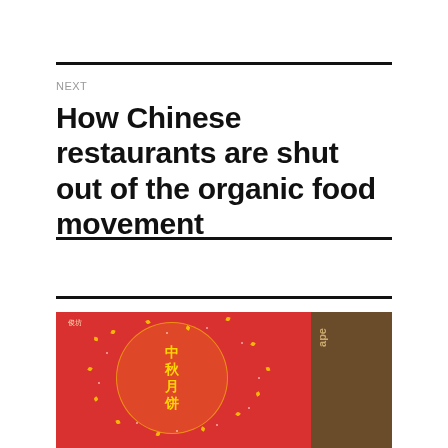NEXT
How Chinese restaurants are shut out of the organic food movement
[Figure (photo): A red Chinese mooncake gift box with yellow circular decorative design featuring Chinese characters 中秋月饼 (Mid-Autumn Mooncake), with yellow leaf/floral motifs. The box is on a wooden table surface, with a brown cardboard box with 'tape' text visible on the right side.]